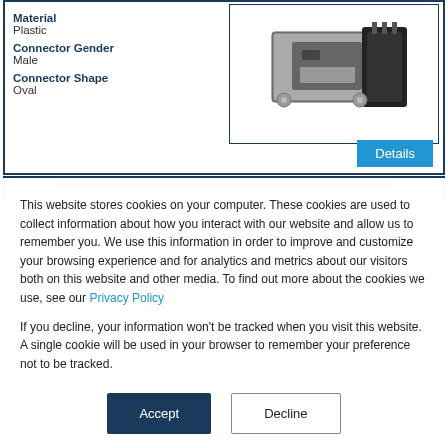Material
Plastic
Connector Gender
Male
Connector Shape
Oval
[Figure (photo): Automotive mass air flow sensor, black plastic housing with connector pins, shown at an angle]
Details
This website stores cookies on your computer. These cookies are used to collect information about how you interact with our website and allow us to remember you. We use this information in order to improve and customize your browsing experience and for analytics and metrics about our visitors both on this website and other media. To find out more about the cookies we use, see our Privacy Policy
If you decline, your information won't be tracked when you visit this website. A single cookie will be used in your browser to remember your preference not to be tracked.
Accept
Decline